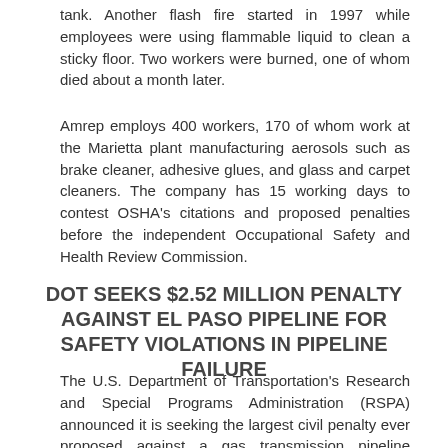tank. Another flash fire started in 1997 while employees were using flammable liquid to clean a sticky floor. Two workers were burned, one of whom died about a month later.
Amrep employs 400 workers, 170 of whom work at the Marietta plant manufacturing aerosols such as brake cleaner, adhesive glues, and glass and carpet cleaners. The company has 15 working days to contest OSHA's citations and proposed penalties before the independent Occupational Safety and Health Review Commission.
DOT SEEKS $2.52 MILLION PENALTY AGAINST EL PASO PIPELINE FOR SAFETY VIOLATIONS IN PIPELINE FAILURE
The U.S. Department of Transportation's Research and Special Programs Administration (RSPA) announced it is seeking the largest civil penalty ever proposed against a gas transmission pipeline operator